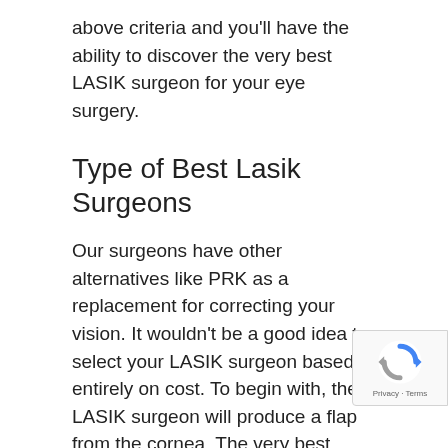above criteria and you'll have the ability to discover the very best LASIK surgeon for your eye surgery.
Type of Best Lasik Surgeons
Our surgeons have other alternatives like PRK as a replacement for correcting your vision. It wouldn't be a good idea to select your LASIK surgeon based entirely on cost. To begin with, the LASIK surgeon will produce a flap from the cornea. The very best LASIK surgeons place a high value on patient education. The very best LASIK surgeons in India believe that the secret to healthy vision and eyes is to keep a wholesome lifestyle.
The usefulness of advertising for the role of deciding surgeon is limited, however. Your eye surgeon will most likely work with a team, who might aid with your initial